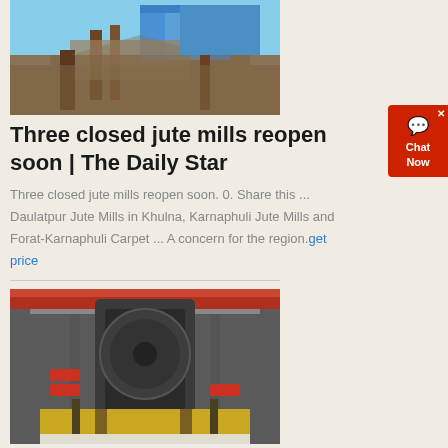[Figure (photo): Jute mill machinery outdoors, blue structure, rusted metal frames and equipment on arid ground]
Three closed jute mills reopen soon | The Daily Star
Three closed jute mills reopen soon. 0. Share this ... Daulatpur Jute Mills in Khulna, Karnaphuli Jute Mills and Forat-Karnaphuli Carpet ... A concern for the region. get price
[Figure (photo): Large industrial vertical mill machine inside a factory, red overhead crane rails, concrete columns, modern industrial equipment]
bd khulna jute mills job news -